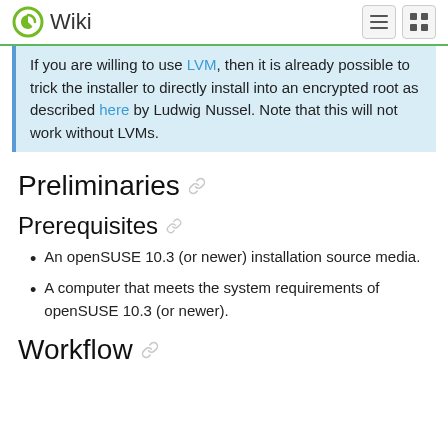Wiki
If you are willing to use LVM, then it is already possible to trick the installer to directly install into an encrypted root as described here by Ludwig Nussel. Note that this will not work without LVMs.
Preliminaries
Prerequisites
An openSUSE 10.3 (or newer) installation source media.
A computer that meets the system requirements of openSUSE 10.3 (or newer).
Workflow